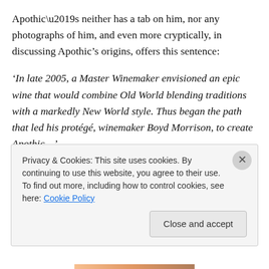Apothic’s neither has a tab on him, nor any photographs of him, and even more cryptically, in discussing Apothic’s origins, offers this sentence:
‘In late 2005, a Master Winemaker envisioned an epic wine that would combine Old World blending traditions with a markedly New World style. Thus began the path that led his protégé, winemaker Boyd Morrison, to create Apothic…’
Further copy mentions the mysterious ‘Master Winemaker’ several more times, but never once identifies him by
Privacy & Cookies: This site uses cookies. By continuing to use this website, you agree to their use.
To find out more, including how to control cookies, see here: Cookie Policy
Close and accept